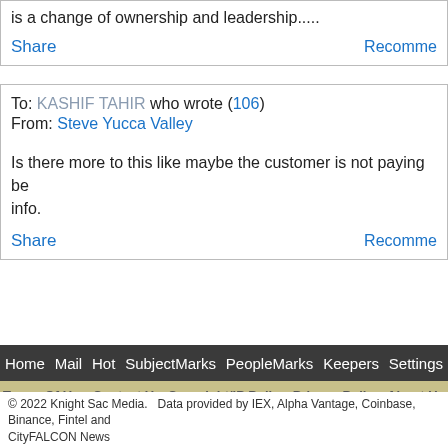is a change of ownership and leadership.....
Share    Recommend
To: KASHIF TAHIR who wrote (106)
From: Steve Yucca Valley
Is there more to this like maybe the customer is not paying be info.
Share    Recommend
Home  Mail  Hot  SubjectMarks  PeopleMarks  Keepers  Settings
Terms Of Use  Contact Us  Copyright/IP Policy  Privacy Policy  About Us
© 2022 Knight Sac Media.  Data provided by IEX, Alpha Vantage, Coinbase, Binance, Fintel and CityFALCON News